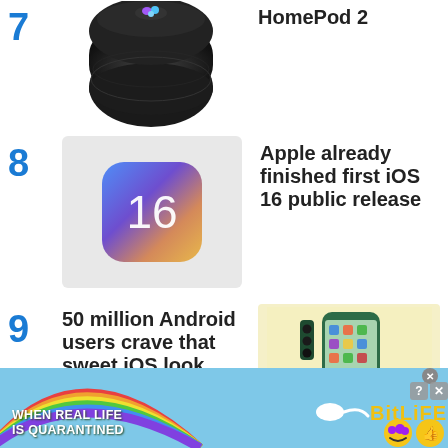7 HomePod 2
[Figure (photo): Black Apple HomePod smart speaker]
8 Apple already finished first iOS 16 public release
[Figure (photo): iOS 16 app icon with blue/purple gradient and number 16]
9 50 million Android users crave that sweet iOS look
[Figure (photo): Green Android smartphone showing home screen]
[Figure (screenshot): BitLife advertisement banner: WHEN REAL LIFE IS QUARANTINED - BitLife app ad with rainbow, emoji icons]